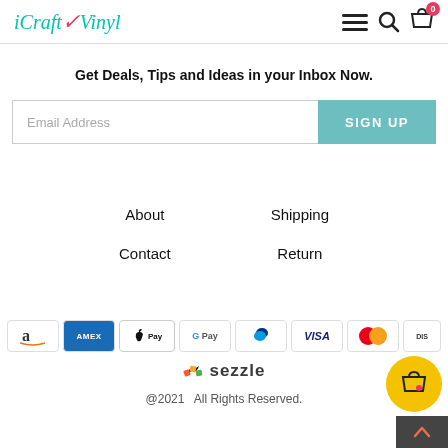iCraftVinyl — navigation header with logo, menu, search, and cart icons
Get Deals, Tips and Ideas in your Inbox Now.
[Figure (screenshot): Email signup form with Email Address input field and SIGN UP button in teal]
About
Contact
Shipping
Return
[Figure (infographic): Payment method icons: Amazon, American Express, Apple Pay, Google Pay, PayPal, Visa, Mastercard, Discover, and Sezzle]
@2021  All Rights Reserved.